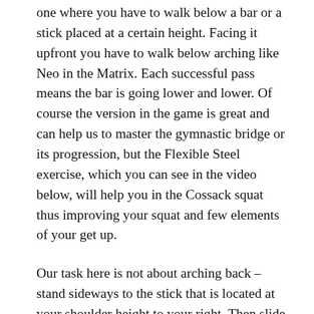one where you have to walk below a bar or a stick placed at a certain height. Facing it upfront you have to walk below arching like Neo in the Matrix. Each successful pass means the bar is going lower and lower. Of course the version in the game is great and can help us to master the gymnastic bridge or its progression, but the Flexible Steel exercise, which you can see in the video below, will help you in the Cossack squat thus improving your squat and few elements of your get up.
Our task here is not about arching back – stand sideways to the stick that is located at your shoulder height to your right. Then slide your right leg to the side under the stick, put your feet with your toes pointed outward and push your knees out, so they point to the same direction as your toes. Use your strength to keep pushing your knees out. Now without moving your fingers back or forth lower yourself and slowly shift your weight to the right below the stick. Go up once you're on the other side. Easy right?